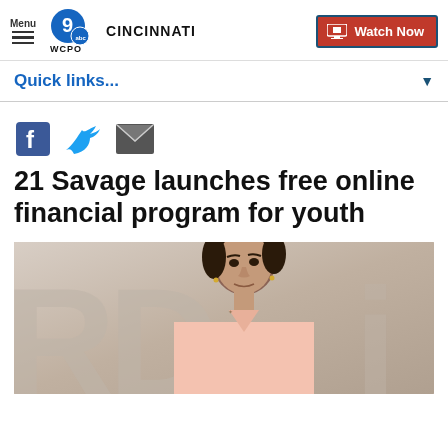Menu | 9 WCPO CINCINNATI | Watch Now
Quick links...
[Figure (screenshot): Social sharing icons: Facebook, Twitter, Email]
21 Savage launches free online financial program for youth
[Figure (photo): Photo of 21 Savage in a pink outfit at a red carpet event, with large letters RD visible in the background]